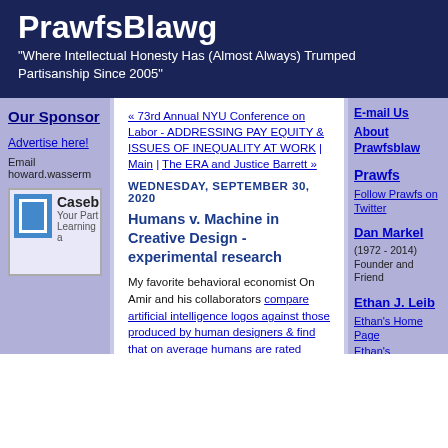PrawfsBlawg
"Where Intellectual Honesty Has (Almost Always) Trumped Partisanship Since 2005"
Our Sponsor
Advertise here!
Email howard.wasserm
[Figure (logo): Caseb logo with blue square icon and text 'Caseb' and 'Your Part Learning a']
« 73rd Annual NYU Conference on Labor - ADDRESSING PAY EQUITY & ISSUES OF INEQUALITY AT WORK | Main | The ERA and Justice Barrett »
WEDNESDAY, SEPTEMBER 30, 2020
Humans v. Machine in Creative Design - experimental research
My favorite behavioral economist On Amir and his collaborators compare artificial intelligence logos against those produced by human designers & find that on average humans are rated higher:
Technological advances have enabled machines to displace
E-mail Us
About Prawfsblaw
Prawfs
Follow Prawfs on Twitter
Dan Markel
(1972 - 2014)
Founder and Friend
Ethan J. Leib
Ethan's Home Page
Ethan's